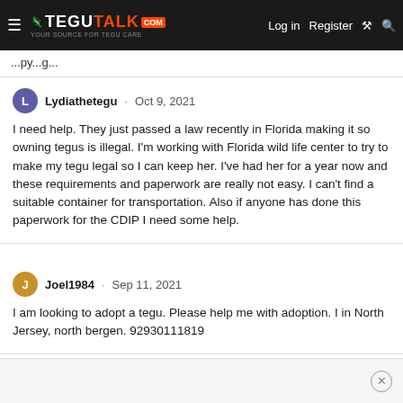TeguTalk.com — Log in  Register
...pg...
Lydiathetegu · Oct 9, 2021

I need help. They just passed a law recently in Florida making it so owning tegus is illegal. I'm working with Florida wild life center to try to make my tegu legal so I can keep her. I've had her for a year now and these requirements and paperwork are really not easy. I can't find a suitable container for transportation. Also if anyone has done this paperwork for the CDIP I need some help.
Joel1984 · Sep 11, 2021

I am looking to adopt a tegu. Please help me with adoption. I in North Jersey, north bergen. 92930111819